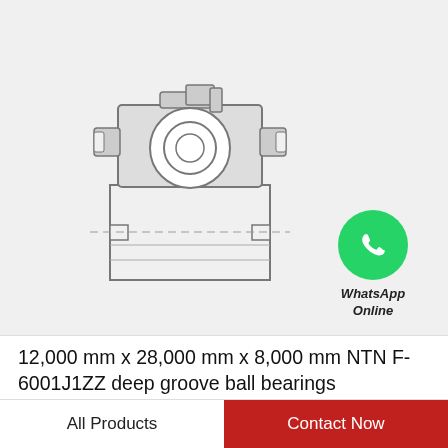[Figure (schematic): Cross-section engineering diagram of NTN F-6001J1ZZ deep groove ball bearing, showing the internal structure with outer ring, inner ring, ball element, and shield/snap ring detail at top]
[Figure (logo): WhatsApp green circle icon with white phone handset, labeled 'WhatsApp Online' in italic text below]
12,000 mm x 28,000 mm x 8,000 mm NTN F-6001J1ZZ deep groove ball bearings
All Products
Contact Now